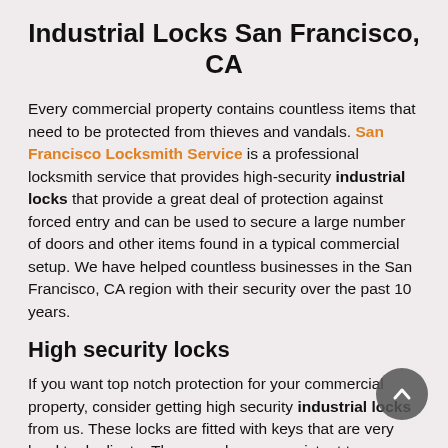Industrial Locks San Francisco, CA
Every commercial property contains countless items that need to be protected from thieves and vandals. San Francisco Locksmith Service is a professional locksmith service that provides high-security industrial locks that provide a great deal of protection against forced entry and can be used to secure a large number of doors and other items found in a typical commercial setup. We have helped countless businesses in the San Francisco, CA region with their security over the past 10 years.
High security locks
If you want top notch protection for your commercial property, consider getting high security industrial locks from us. These locks are fitted with keys that are very hard to duplicate. They are also very resistant to manipulation. We carry Grade 1, Grade 2, and Grade 3 locks, graded